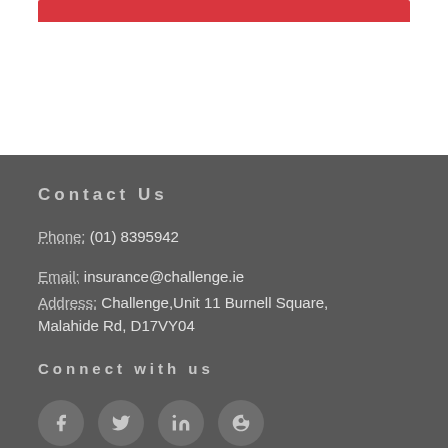Contact Us
Phone: (01) 8395942
Email: insurance@challenge.ie
Address: Challenge,Unit 11 Burnell Square, Malahide Rd, D17VY04
Connect with us